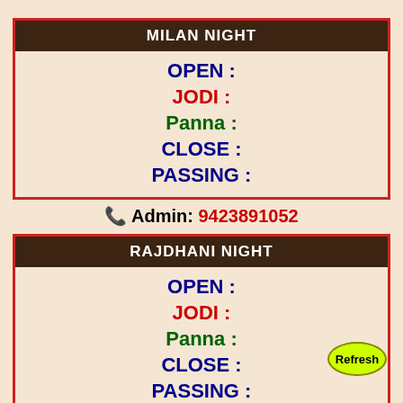MILAN NIGHT
OPEN :
JODI :
Panna :
CLOSE :
PASSING :
📞 Admin: 9423891052
RAJDHANI NIGHT
OPEN :
JODI :
Panna :
CLOSE :
PASSING :